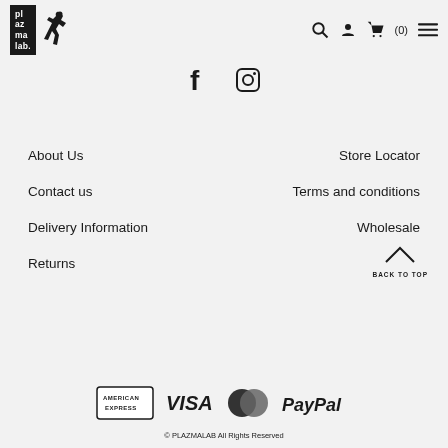[Figure (logo): Plazma Lab logo with text box and running figure silhouette]
[Figure (infographic): Header navigation icons: search, user account, shopping cart (0), hamburger menu]
[Figure (infographic): Social media icons: Facebook and Instagram]
About Us
Store Locator
Contact us
Terms and conditions
Delivery Information
Wholesale
Returns
[Figure (infographic): Back to top arrow button with label BACK TO TOP]
[Figure (infographic): Payment method logos: American Express, Visa, Mastercard, PayPal]
© PLAZMALAB All Rights Reserved